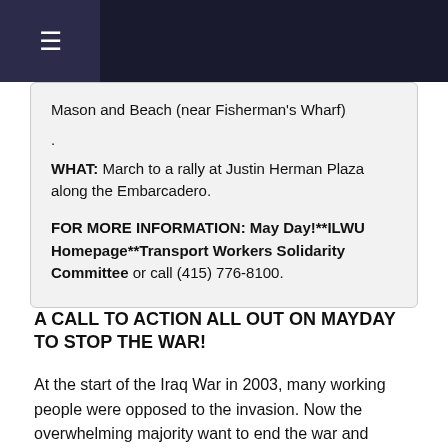≡
Mason and Beach (near Fisherman's Wharf)
.
WHAT: March to a rally at Justin Herman Plaza along the Embarcadero.
FOR MORE INFORMATION: May Day!**ILWU Homepage**Transport Workers Solidarity Committee or call (415) 776-8100.
A CALL TO ACTION ALL OUT ON MAYDAY TO STOP THE WAR!
At the start of the Iraq War in 2003, many working people were opposed to the invasion. Now the overwhelming majority want to end the war and withdraw troops.